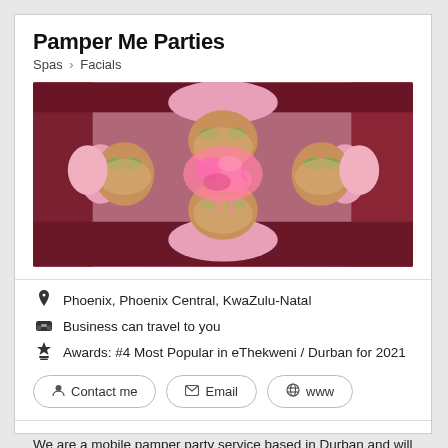Pamper Me Parties
Spas > Facials
[Figure (photo): Overhead view of four people lying in a circle with facial masks and cucumber slices on their eyes, wearing pink head towels, with a pink feather boa in the center]
Phoenix, Phoenix Central, KwaZulu-Natal
Business can travel to you
Awards: #4 Most Popular in eThekweni / Durban for 2021
Contact me
Email
www
We are a mobile pamper party service based in Durban and will travel all over Durban and surrounds – your home or any venue of your choice.